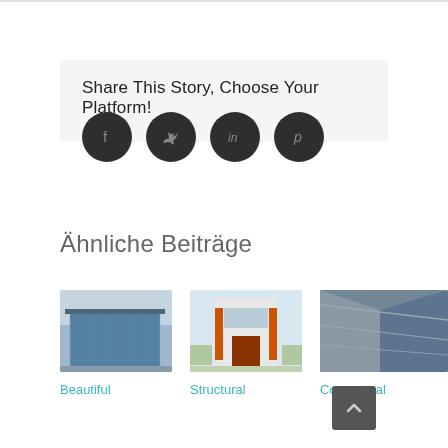Share This Story, Choose Your Platform!
[Figure (infographic): Four social media icon buttons (Facebook, Twitter, LinkedIn, Pinterest) as dark circular icons]
Ähnliche Beiträge
[Figure (photo): Architectural rendering of a modern glass building]
[Figure (photo): Architectural rendering of a modern building with orange door accents]
[Figure (photo): Abstract architectural close-up with reflective metallic surfaces]
Beautiful
Structural
Conceptual